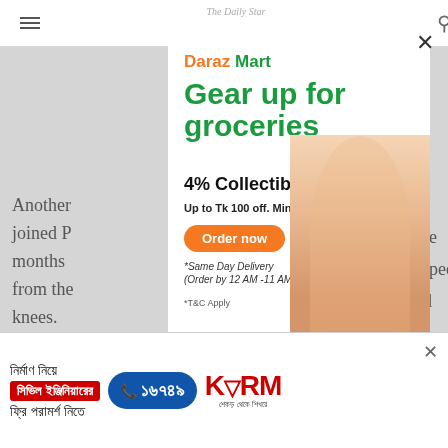[Figure (screenshot): Screenshot of a news website (The Daily Star Bangladesh) with two advertisement overlays. The main popup ad is from Daraz Mart promoting grocery shopping with a 4% collectible voucher, up to Tk 100 off, minimum purchase Tk 1000, with an 'Order now' button and same-day delivery note. The bottom banner ad is from KSRM promoting free civil engineering consultation with phone number 16749.]
Another ... joined P... three months ... pumped from the ... and knees.
The eld... she came to ...
The 20- ... a
Daraz Mart
Gear up for groceries
4% Collectible Voucher
Up to Tk 100 off. Min. Purchase Tk 1000
Order now
*Same Day Delivery
(Order by 12 AM - 11 AM)
*T&C Apply
নির্মাণ নিয়ে
সিভিল ইঞ্জিনিয়ারের
ফ্রি পরামর্শ নিতে
১৬৭৪৯
KSRM শেকড় থেকে শিখরে